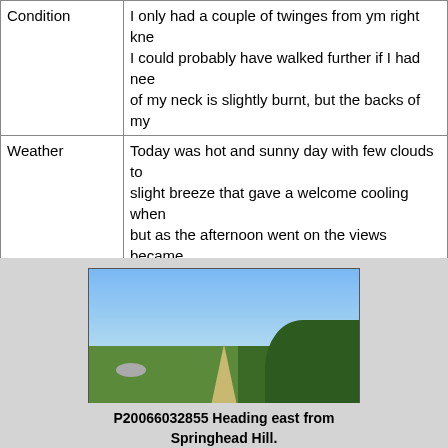|  |  |
| --- | --- |
| Condition | I only had a couple of twinges from my right knee. I could probably have walked further if I had needed to. The back of my neck is slightly burnt, but the backs of my ... |
| Weather | Today was hot and sunny day with few clouds to start with and a slight breeze that gave a welcome cooling when walking into it, but as the afternoon went on the views became ... |
| OS map | Landranger number 198 (Brighton & Lewes, Hay... |
[Figure (photo): A countryside path heading east from Springhead Hill, with green fields on the left and bushes/shrubs on the right, under a clear blue sky.]
P20066032855 Heading east from Springhead Hill.